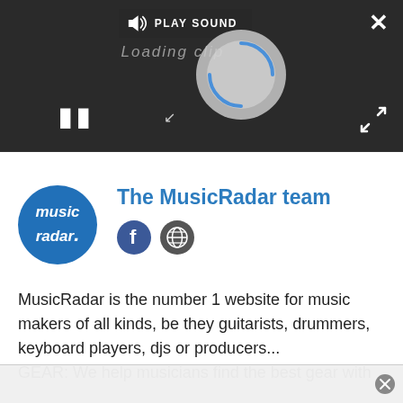[Figure (screenshot): Video player UI with dark background showing a loading spinner, pause button, PLAY SOUND bar, close X button, and expand icon]
The MusicRadar team
[Figure (logo): MusicRadar circular blue logo with white text 'music radar.']
[Figure (other): Social icons: Facebook circle and globe/website circle]
MusicRadar is the number 1 website for music makers of all kinds, be they guitarists, drummers, keyboard players, djs or producers...
GEAR: We help musicians find the best gear with